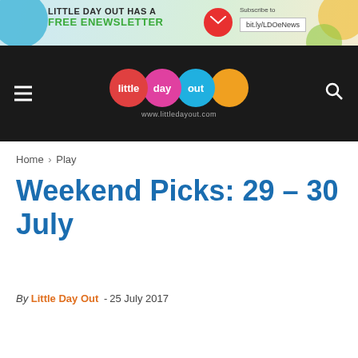[Figure (infographic): Little Day Out free enewsletter banner ad with colorful circles, green text and subscribe button linking to bit.ly/LDOeNews]
little day out — www.littledayout.com
Home › Play
Weekend Picks: 29 – 30 July
By Little Day Out - 25 July 2017